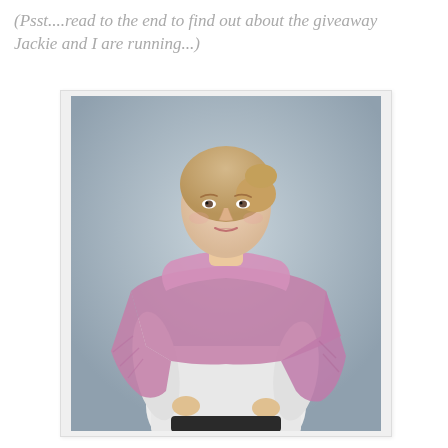(Psst....read to the end to find out about the giveaway Jackie and I are running...)
[Figure (photo): A woman with blonde hair pulled back, wearing a white long-sleeve shirt and a large pink/mauve knitted wrap shawl draped around her shoulders and body. She is posed against a neutral grey background.]